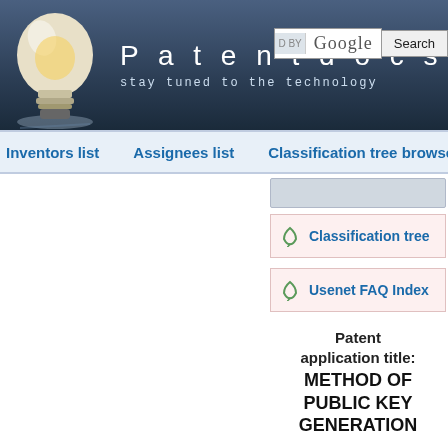[Figure (screenshot): Patentdocs website header with lightbulb logo, site title 'Patentdocs', tagline 'stay tuned to the technology', Google search bar and Search button]
Inventors list   Assignees list   Classification tree browser
Classification tree
Usenet FAQ Index
Patent application title: METHOD OF PUBLIC KEY GENERATION
Inventors:  Scott A. VANSTONE